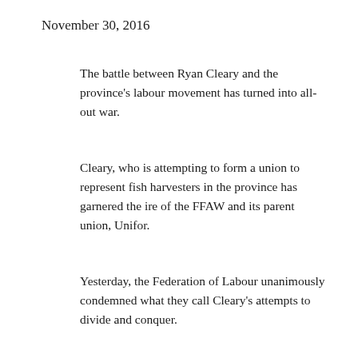November 30, 2016
The battle between Ryan Cleary and the province's labour movement has turned into all-out war.
Cleary, who is attempting to form a union to represent fish harvesters in the province has garnered the ire of the FFAW and its parent union, Unifor.
Yesterday, the Federation of Labour unanimously condemned what they call Cleary's attempts to divide and conquer.